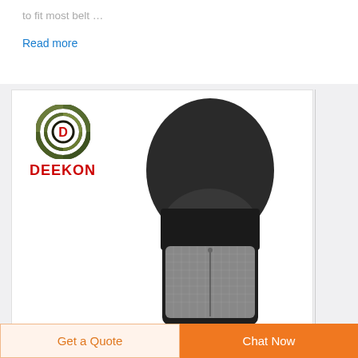to fit most belt …
Read more
[Figure (photo): DEEKON branded balaclava/face mask product photo showing a mannequin head wearing a black balaclava with grey mesh face covering. DEEKON logo with camouflage ring design appears in upper left.]
Get a Quote
Chat Now